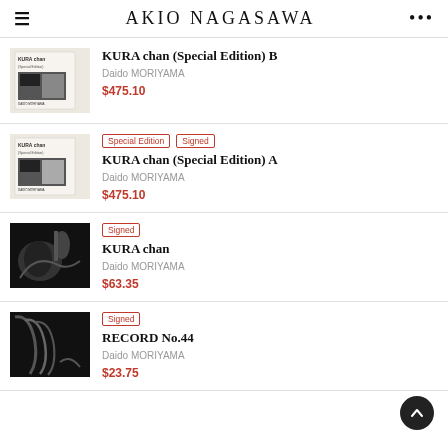AKIO NAGASAWA
KURA chan (Special Edition) B
Daido MORIYAMA
$475.10
Special Edition  Signed
KURA chan (Special Edition) A
Daido MORIYAMA
$475.10
Signed
KURA chan
Daido MORIYAMA
$63.35
Signed
RECORD No.44
Daido MORIYAMA
$23.75